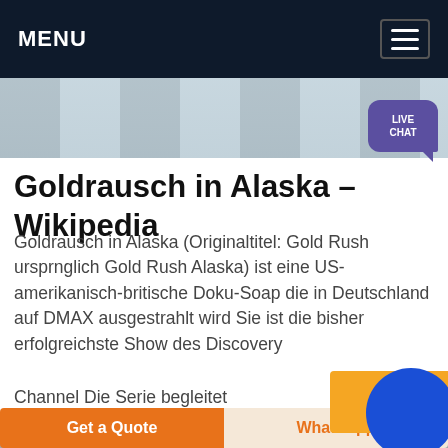MENU
[Figure (photo): Industrial/machinery image strip at top of page]
Goldrausch in Alaska – Wikipedia
Goldrausch in Alaska (Originaltitel: Gold Rush ursprnglich Gold Rush Alaska) ist eine US-amerikanisch-britische Doku-Soap die in Deutschland auf DMAX ausgestrahlt wird Sie ist die bisher erfolgreichste Show des Discovery
Channel Die Serie begleitet
[Figure (other): Get price yellow button overlay]
[Figure (other): Blue circle button overlay]
[Figure (photo): Bottom image strip]
Get a Quote
WhatsApp